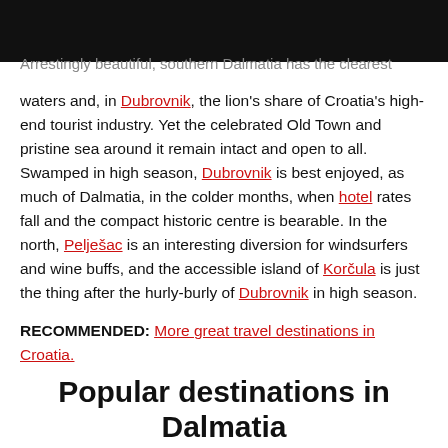Arrestingly beautiful, southern Dalmatia has the clearest waters and, in Dubrovnik, the lion's share of Croatia's high-end tourist industry. Yet the celebrated Old Town and pristine sea around it remain intact and open to all. Swamped in high season, Dubrovnik is best enjoyed, as much of Dalmatia, in the colder months, when hotel rates fall and the compact historic centre is bearable. In the north, Pelješac is an interesting diversion for windsurfers and wine buffs, and the accessible island of Korčula is just the thing after the hurly-burly of Dubrovnik in high season.
RECOMMENDED: More great travel destinations in Croatia.
Popular destinations in Dalmatia